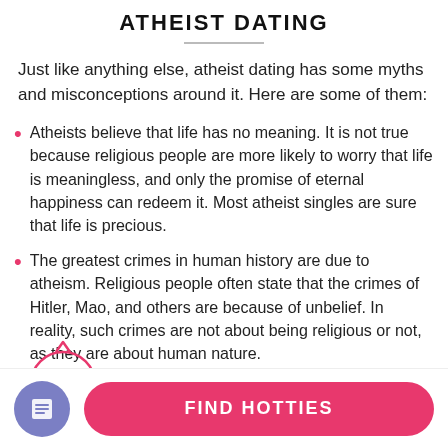ATHEIST DATING
Just like anything else, atheist dating has some myths and misconceptions around it. Here are some of them:
Atheists believe that life has no meaning. It is not true because religious people are more likely to worry that life is meaningless, and only the promise of eternal happiness can redeem it. Most atheist singles are sure that life is precious.
The greatest crimes in human history are due to atheism. Religious people often state that the crimes of Hitler, Mao, and others are because of unbelief. In reality, such crimes are not about being religious or not, as they are about human nature.
[Figure (other): 57% annotation circle overlaid on the second list item text]
FIND HOTTIES